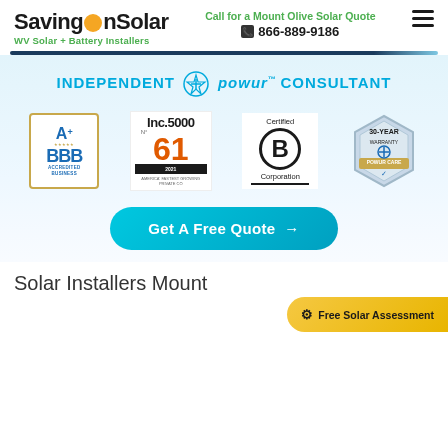SavingOnSolar — WV Solar + Battery Installers | Call for a Mount Olive Solar Quote | 866-889-9186
[Figure (logo): SavingOnSolar logo with tagline 'WV Solar + Battery Installers']
INDEPENDENT POWUR™ CONSULTANT
[Figure (logo): BBB A+ Accredited Business badge]
[Figure (logo): Inc. 5000 No. 61 America's Fastest Growing Private Co 2021]
[Figure (logo): Certified B Corporation badge]
[Figure (logo): 30-Year Warranty Powur Care badge]
Get A Free Quote →
Solar Installers Mount
⚙ Free Solar Assessment